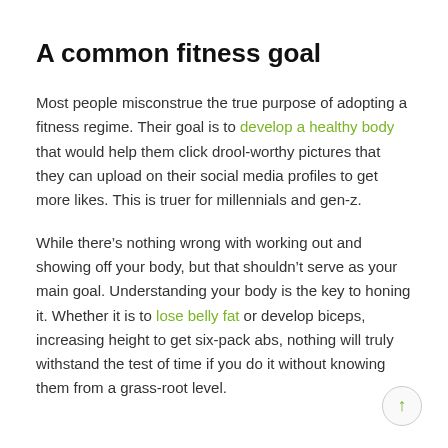A common fitness goal
Most people misconstrue the true purpose of adopting a fitness regime. Their goal is to develop a healthy body that would help them click drool-worthy pictures that they can upload on their social media profiles to get more likes. This is truer for millennials and gen-z.
While there’s nothing wrong with working out and showing off your body, but that shouldn’t serve as your main goal. Understanding your body is the key to honing it. Whether it is to lose belly fat or develop biceps, increasing height to get six-pack abs, nothing will truly withstand the test of time if you do it without knowing them from a grass-root level.